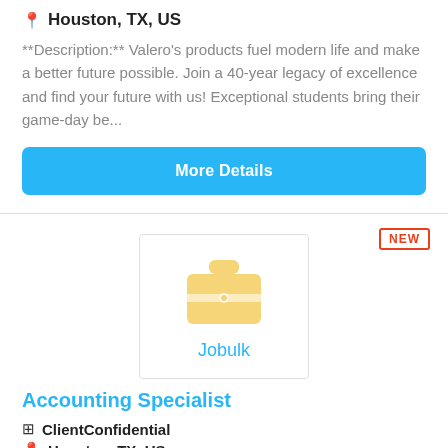Houston, TX, US
**Description:** Valero's products fuel modern life and make a better future possible. Join a 40-year legacy of excellence and find your future with us! Exceptional students bring their game-day be...
More Details
[Figure (logo): Jobulk logo with briefcase icon in yellow/gold and text 'Jobulk' in blue below]
Accounting Specialist
ClientConfidential
Houston, TX, US